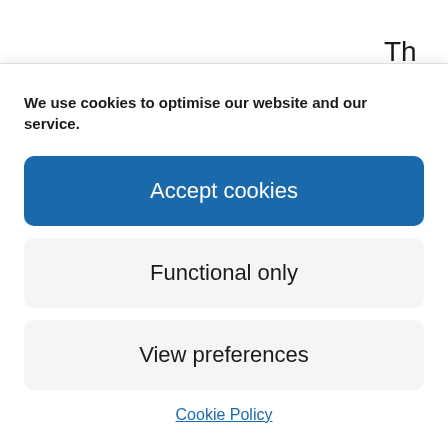Th
bu
org
ind
bo
We use cookies to optimise our website and our service.
Accept cookies
Functional only
View preferences
Cookie Policy